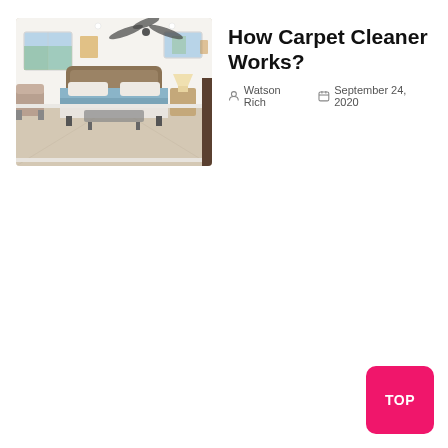[Figure (photo): Interior bedroom photo showing a carpeted room with ceiling fan, windows, a bed with blue bedding, nightstand with lamp, and accent chairs.]
How Carpet Cleaner Works?
Watson Rich   September 24, 2020